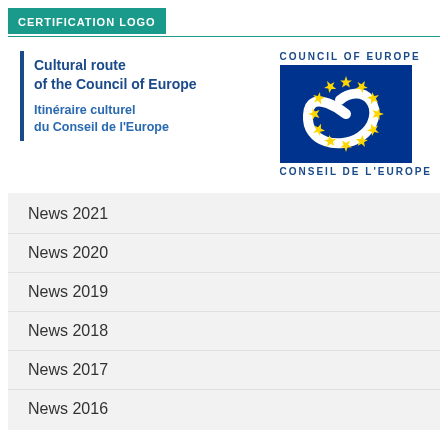CERTIFICATION LOGO
[Figure (logo): Cultural route of the Council of Europe / Itinéraire culturel du Conseil de l'Europe certification logo with vertical blue bar on left, and Council of Europe emblem (blue square with white swirl and yellow stars) on right with text COUNCIL OF EUROPE and CONSEIL DE L'EUROPE]
News 2021
News 2020
News 2019
News 2018
News 2017
News 2016